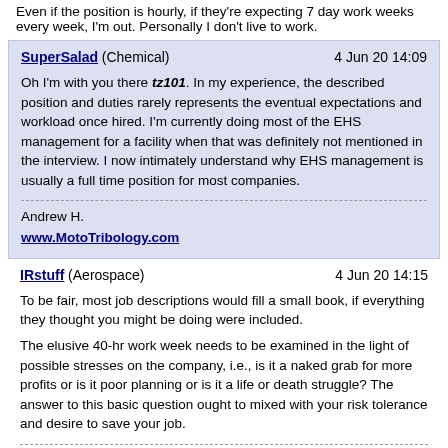Even if the position is hourly, if they're expecting 7 day work weeks every week, I'm out. Personally I don't live to work.
SuperSalad (Chemical) 4 Jun 20 14:09
Oh I'm with you there tz101. In my experience, the described position and duties rarely represents the eventual expectations and workload once hired. I'm currently doing most of the EHS management for a facility when that was definitely not mentioned in the interview. I now intimately understand why EHS management is usually a full time position for most companies.

Andrew H.
www.MotoTribology.com
IRstuff (Aerospace) 4 Jun 20 14:15
To be fair, most job descriptions would fill a small book, if everything they thought you might be doing were included.

The elusive 40-hr work week needs to be examined in the light of possible stresses on the company, i.e., is it a naked grab for more profits or is it poor planning or is it a life or death struggle? The answer to this basic question ought to mixed with your risk tolerance and desire to save your job.

TTFN (ta ta for now)
I can do absolutely anything, I'm an expert!